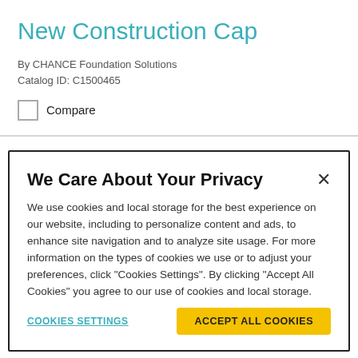New Construction Cap
By CHANCE Foundation Solutions
Catalog ID: C1500465
Compare
We Care About Your Privacy
We use cookies and local storage for the best experience on our website, including to personalize content and ads, to enhance site navigation and to analyze site usage. For more information on the types of cookies we use or to adjust your preferences, click “Cookies Settings”. By clicking “Accept All Cookies” you agree to our use of cookies and local storage.
COOKIES SETTINGS
ACCEPT ALL COOKIES